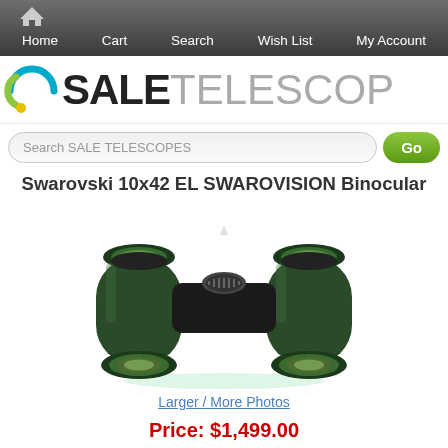Home  Cart  Search  Wish List  My Account
[Figure (logo): Sale Telescopes logo with circular blue-green swirl icon and text 'SALE TELESCOP']
Search SALE TELESCOPES
Swarovski 10x42 EL SWAROVISION Binocular
[Figure (photo): Green Swarovski 10x42 EL binoculars shown at an angle on white background]
Larger / More Photos
Price: $1,499.00